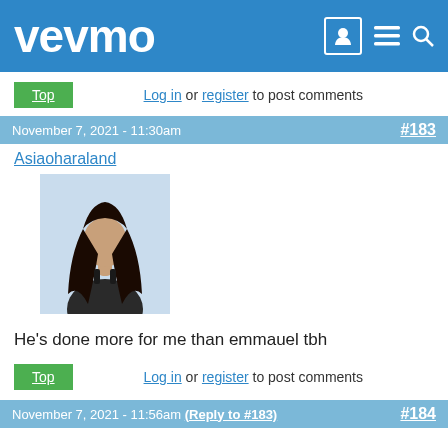vevmo
Top   Log in or register to post comments
November 7, 2021 - 11:30am   #183
Asiaoharaland
[Figure (photo): Profile photo of a woman in dark sports bra with long dark hair]
He's done more for me than emmauel tbh
Top   Log in or register to post comments
November 7, 2021 - 11:56am  (Reply to #183)   #184